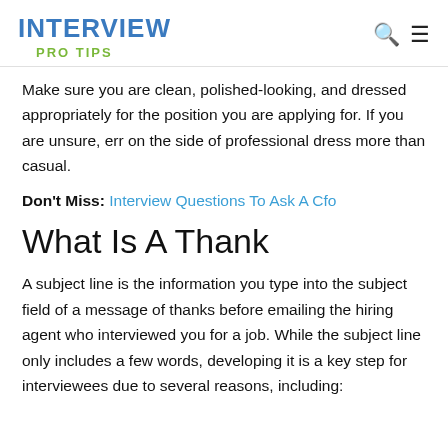INTERVIEW PRO TIPS
Make sure you are clean, polished-looking, and dressed appropriately for the position you are applying for. If you are unsure, err on the side of professional dress more than casual.
Don't Miss: Interview Questions To Ask A Cfo
What Is A Thank
A subject line is the information you type into the subject field of a message of thanks before emailing the hiring agent who interviewed you for a job. While the subject line only includes a few words, developing it is a key step for interviewees due to several reasons, including: